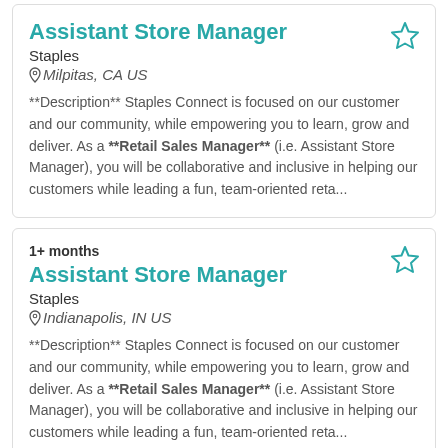Assistant Store Manager
Staples
Milpitas, CA US
**Description** Staples Connect is focused on our customer and our community, while empowering you to learn, grow and deliver. As a **Retail Sales Manager** (i.e. Assistant Store Manager), you will be collaborative and inclusive in helping our customers while leading a fun, team-oriented reta...
1+ months
Assistant Store Manager
Staples
Indianapolis, IN US
**Description** Staples Connect is focused on our customer and our community, while empowering you to learn, grow and deliver. As a **Retail Sales Manager** (i.e. Assistant Store Manager), you will be collaborative and inclusive in helping our customers while leading a fun, team-oriented reta...